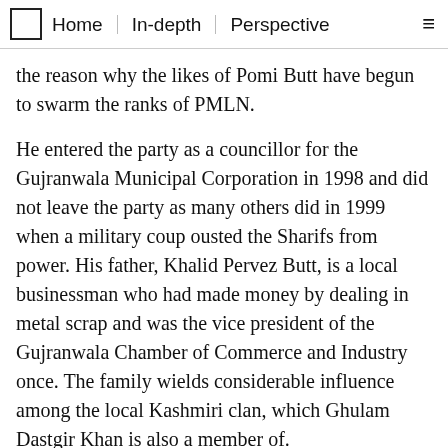Home | In-depth | Perspective
the reason why the likes of Pomi Butt have begun to swarm the ranks of PMLN.
He entered the party as a councillor for the Gujranwala Municipal Corporation in 1998 and did not leave the party as many others did in 1999 when a military coup ousted the Sharifs from power. His father, Khalid Pervez Butt, is a local businessman who had made money by dealing in metal scrap and was the vice president of the Gujranwala Chamber of Commerce and Industry once. The family wields considerable influence among the local Kashmiri clan, which Ghulam Dastgir Khan is also a member of.
"[Pomi Butt] just has money and no political